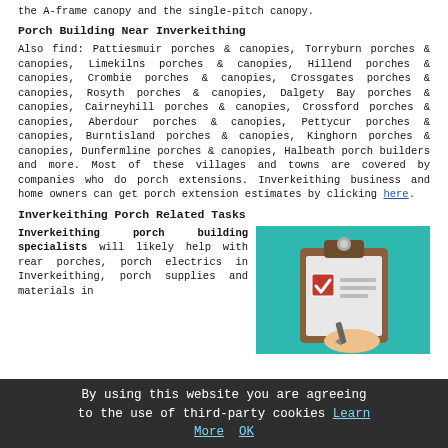the A-frame canopy and the single-pitch canopy.
Porch Building Near Inverkeithing
Also find: Pattiesmuir porches & canopies, Torryburn porches & canopies, Limekilns porches & canopies, Hillend porches & canopies, Crombie porches & canopies, Crossgates porches & canopies, Rosyth porches & canopies, Dalgety Bay porches & canopies, Cairneyhill porches & canopies, Crossford porches & canopies, Aberdour porches & canopies, Pettycur porches & canopies, Burntisland porches & canopies, Kinghorn porches & canopies, Dunfermline porches & canopies, Halbeath porch builders and more. Most of these villages and towns are covered by companies who do porch extensions. Inverkeithing business and home owners can get porch extension estimates by clicking here.
Inverkeithing Porch Related Tasks
Inverkeithing porch building specialists will likely help with rear porches, porch electrics in Inverkeithing, porch supplies and materials in
[Figure (illustration): Clipboard illustration with a checklist, checkmark, and a hand holding a pen, on a teal background]
By using this website you are agreeing to the use of third-party cookies Learn More OK